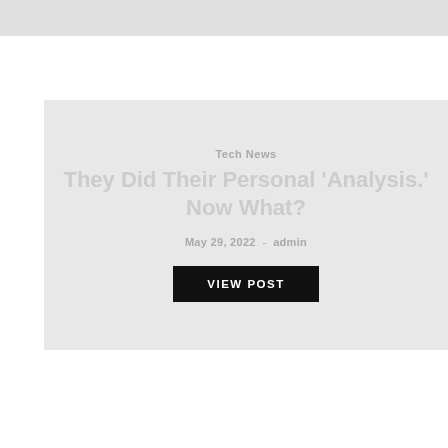[Figure (other): Gray banner image at top of page]
[Figure (other): Article card with light gray background showing Tech News category, article title 'They Did Their Personal ‘Analysis.’ Now What?', date May 29, 2022, author admin, and VIEW POST button]
Tech News
They Did Their Personal ‘Analysis.’ Now What?
May 29, 2022  -  admin
You May Also Like
[Figure (photo): Blurred photo of electronic displays/screens with colored lights in blue, pink, and green tones]